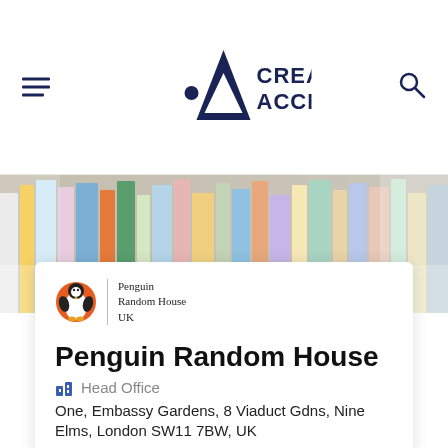Creative Access
[Figure (photo): Colorful books on shelves in a library or bookshop, blurred background with people]
[Figure (logo): Penguin Random House UK logo: orange penguin in a circle with text 'Penguin Random House UK']
Penguin Random House
Head Office
One, Embassy Gardens, 8 Viaduct Gdns, Nine Elms, London SW11 7BW, UK